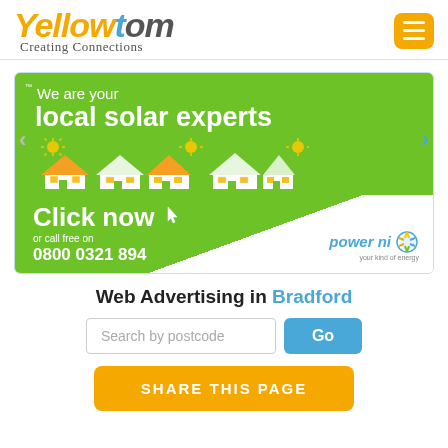[Figure (logo): Yellowtom logo with tagline 'Creating Connections' and hamburger menu icon]
[Figure (infographic): Green banner ad: 'We are your local solar experts - Click now or call free on 0800 0321 894' with house icons and Power NI logo. Left/right carousel arrows visible.]
Web Advertising in Bradford
Search by postcode
Go
SHARE THIS PAGE